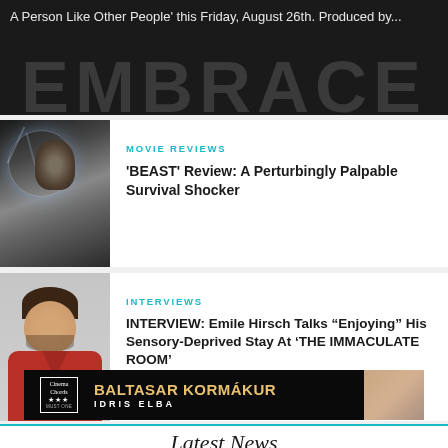A Person Like Other People' this Friday, August 26th. Produced by...
[Figure (photo): Dark cinematic still from Beast movie with cracked glass overlay]
MOVIE REVIEWS
'BEAST' Review: A Perturbingly Palpable Survival Shocker
[Figure (photo): Portrait photo of Emile Hirsch in a red shirt]
INTERVIEWS
INTERVIEW: Emile Hirsch Talks “Enjoying” His Sensory-Deprived Stay At ‘THE IMMACULATE ROOM’
Latest News
[Figure (photo): Promotional banner for Cinema Chords featuring Baltasar Kormakur and Idris Elba]